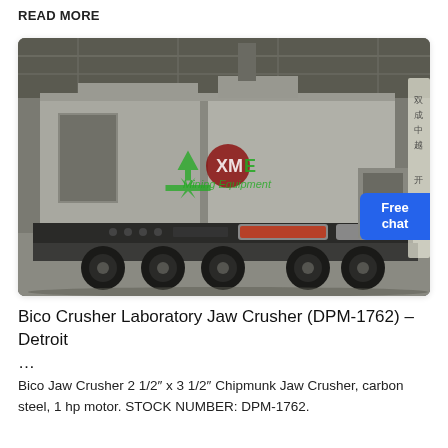READ MORE
[Figure (photo): A large mobile jaw crusher machine on a trailer, photographed inside an industrial warehouse. The machine is grey and black with visible wheels and an XME Mining Equipment watermark/logo overlay in green and red.]
Bico Crusher Laboratory Jaw Crusher (DPM-1762) – Detroit …
Bico Jaw Crusher 2 1/2″ x 3 1/2″ Chipmunk Jaw Crusher, carbon steel, 1 hp motor. STOCK NUMBER: DPM-1762.